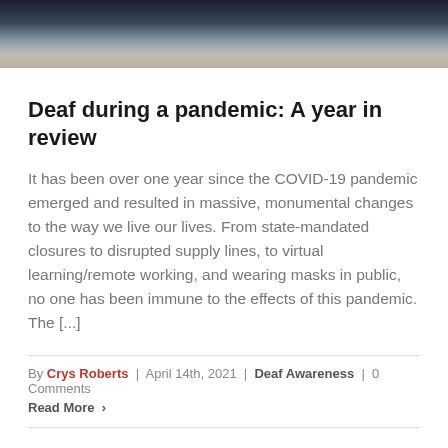[Figure (photo): Top portion of a photo showing a person, partially cropped, with a light striped garment visible and a floral element in the background.]
Deaf during a pandemic: A year in review
It has been over one year since the COVID-19 pandemic emerged and resulted in massive, monumental changes to the way we live our lives. From state-mandated closures to disrupted supply lines, to virtual learning/remote working, and wearing masks in public, no one has been immune to the effects of this pandemic. The [...]
By Crys Roberts | April 14th, 2021 | Deaf Awareness | 0 Comments
Read More >